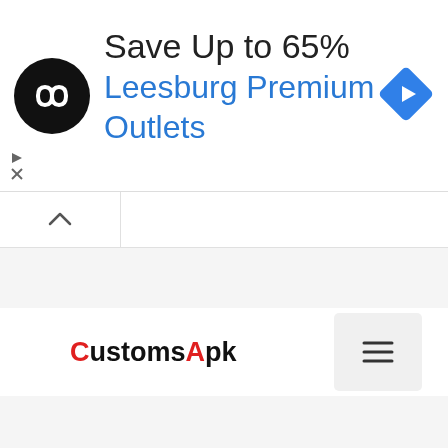[Figure (screenshot): Advertisement banner showing a circular black logo with infinity-like symbol, text 'Save Up to 65%' in dark gray, 'Leesburg Premium Outlets' in blue, and a blue diamond-shaped arrow icon on the right. Small ad controls (play triangle and X) appear in bottom left of banner.]
CustomsApk
[Figure (screenshot): Hamburger menu button (three horizontal lines) in a light gray rounded square on the right side of the navigation bar.]